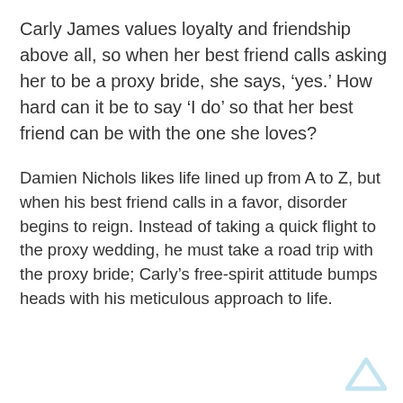Carly James values loyalty and friendship above all, so when her best friend calls asking her to be a proxy bride, she says, ‘yes.’ How hard can it be to say ‘I do’ so that her best friend can be with the one she loves?
Damien Nichols likes life lined up from A to Z, but when his best friend calls in a favor, disorder begins to reign. Instead of taking a quick flight to the proxy wedding, he must take a road trip with the proxy bride; Carly’s free-spirit attitude bumps heads with his meticulous approach to life.